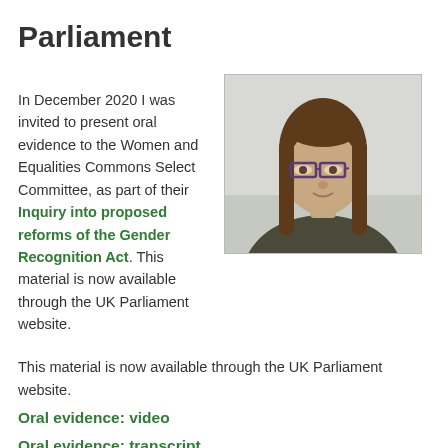Parliament
In December 2020 I was invited to present oral evidence to the Women and Equalities Commons Select Committee, as part of their Inquiry into proposed reforms of the Gender Recognition Act. This material is now available through the UK Parliament website.
[Figure (photo): Headshot of a young woman with long brown hair and glasses, appearing in a video call screenshot.]
Oral evidence: video
Oral evidence: transcript
I also submitted more extensive written evidence as part of the Trans Learning Partnership. This document was co-authored